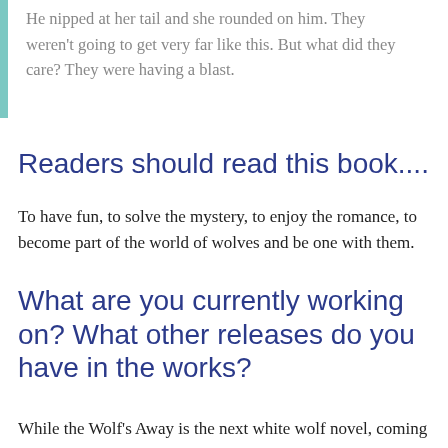He nipped at her tail and she rounded on him. They weren't going to get very far like this. But what did they care? They were having a blast.
Readers should read this book....
To have fun, to solve the mystery, to enjoy the romance, to become part of the world of wolves and be one with them.
What are you currently working on? What other releases do you have in the works?
While the Wolf's Away is the next white wolf novel, coming May 1. David Davis's story and we have another red wolf